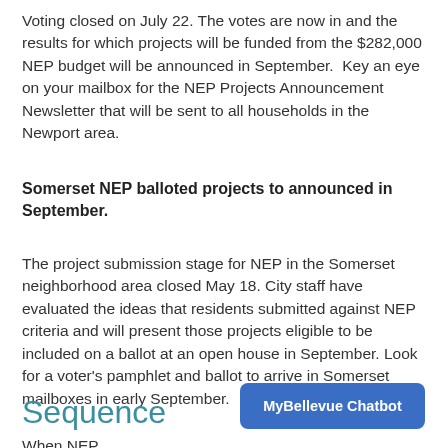Voting closed on July 22. The votes are now in and the results for which projects will be funded from the $282,000 NEP budget will be announced in September. Key an eye on your mailbox for the NEP Projects Announcement Newsletter that will be sent to all households in the Newport area.
Somerset NEP balloted projects to announced in September.
The project submission stage for NEP in the Somerset neighborhood area closed May 18. City staff have evaluated the ideas that residents submitted against NEP criteria and will present those projects eligible to be included on a ballot at an open house in September. Look for a voter's pamphlet and ballot to arrive in Somerset mailboxes in early September.
[Figure (other): MyBellevue Chatbot button - a blue rounded rectangle button with white bold text reading 'MyBellevue Chatbot']
Sequence
When NEP...